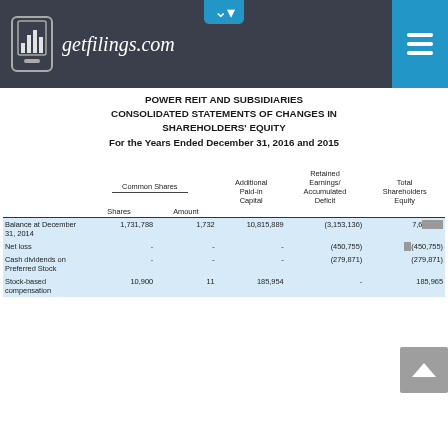getfilings.com
POWER REIT AND SUBSIDIARIES
CONSOLIDATED STATEMENTS OF CHANGES IN SHAREHOLDERS' EQUITY
For the Years Ended December 31, 2016 and 2015
|  | Shares | Amount | Additional Paid-in Capital | Retained Earnings/ Accumulated Deficit | Total Shareholders Equity |
| --- | --- | --- | --- | --- | --- |
| Balance at December 31, 2014 | 1,731,788 | 1,732 | 10,815,889 | (3,153,136) | 7,6xx |
| Net loss | - | - | - | (450,755) | (450,755) |
| Cash dividends on Preferred Stock | - | - | - | (279,871) | (279,871) |
| Stock-based compensation | 10,900 | 11 | 185,954 | - | 185,965 |